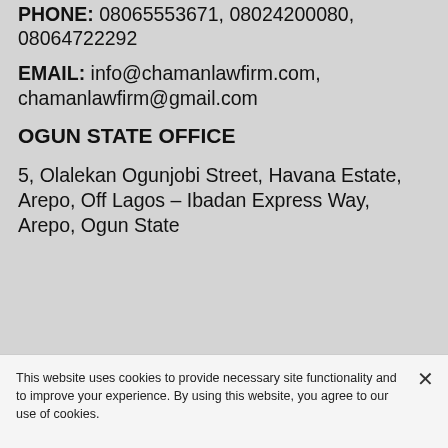PHONE: 08065553671, 08024200080, 08064722292
EMAIL: info@chamanlawfirm.com, chamanlawfirm@gmail.com
OGUN STATE OFFICE
5, Olalekan Ogunjobi Street, Havana Estate, Arepo, Off Lagos - Ibadan Express Way, Arepo, Ogun State
This website uses cookies to provide necessary site functionality and to improve your experience. By using this website, you agree to our use of cookies.